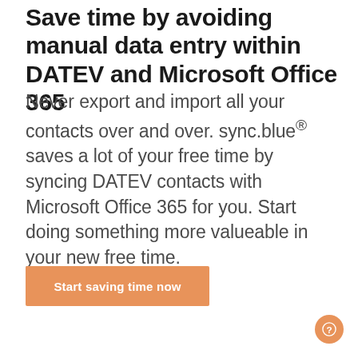Save time by avoiding manual data entry within DATEV and Microsoft Office 365
Never export and import all your contacts over and over. sync.blue® saves a lot of your free time by syncing DATEV contacts with Microsoft Office 365 for you. Start doing something more valueable in your new free time.
Start saving time now